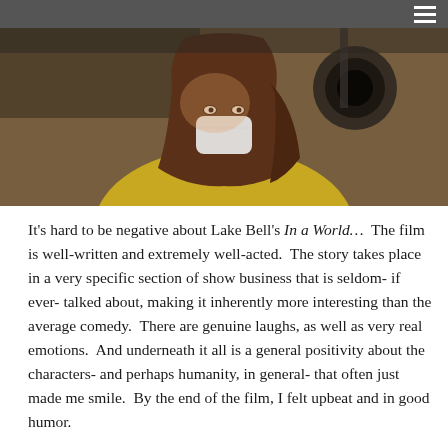[Figure (photo): A woman with long brown hair wearing a yellow jacket and a white face mask, shown from shoulders up, with equipment visible in the background. Dark, indoor setting.]
It's hard to be negative about Lake Bell's In a World…  The film is well-written and extremely well-acted.  The story takes place in a very specific section of show business that is seldom- if ever- talked about, making it inherently more interesting than the average comedy.  There are genuine laughs, as well as very real emotions.  And underneath it all is a general positivity about the characters- and perhaps humanity, in general- that often just made me smile.  By the end of the film, I felt upbeat and in good humor.
So, when I say that the film is far from perfect, please keep in mind that the film has a lot going for it.  And yet, strangely enough, the negative aspects of the film all seem to stem from the positive.  Bell's commitment to creating real, three dimensional characters she too often gets distracted from the